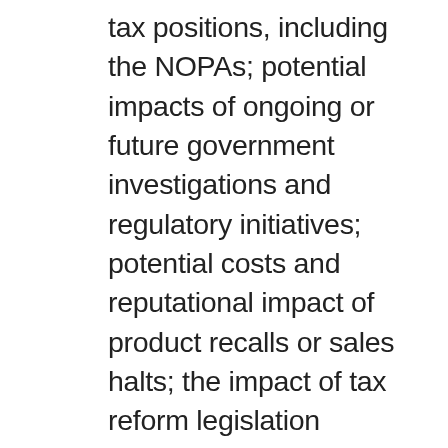tax positions, including the NOPAs; potential impacts of ongoing or future government investigations and regulatory initiatives; potential costs and reputational impact of product recalls or sales halts; the impact of tax reform legislation and/or changes in healthcare policy; the timing, amount and cost of any share repurchases; fluctuations in currency exchange rates and interest rates; the Company's ability to achieve the benefits expected